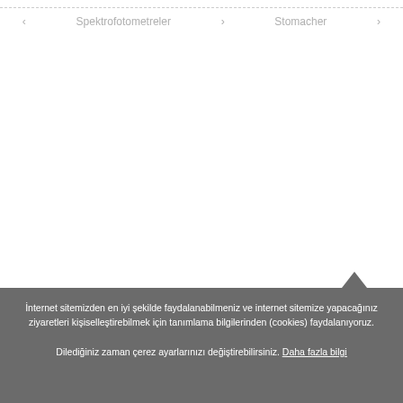Spektrofotometreler    Stomacher
İnternet sitemizden en iyi şekilde faydalanabilmeniz ve internet sitemize yapacağınız ziyaretleri kişiselleştirebilmek için tanımlama bilgilerinden (cookies) faydalanıyoruz.
Dilediğiniz zaman çerez ayarlarınızı değiştirebilirsiniz. Daha fazla bilgi